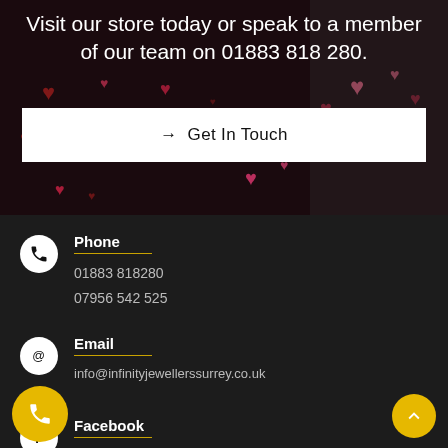Visit our store today or speak to a member of our team on 01883 818 280.
→ Get In Touch
Phone
01883 818280
07956 542 525
Email
info@infinityjewellerssurrey.co.uk
Facebook